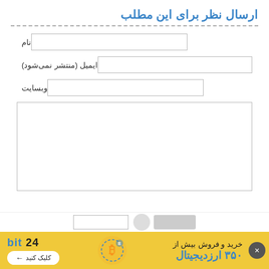ارسال نظر برای این مطلب
نام
ایمیل (منتشر نمی‌شود)
وبسایت
[Figure (screenshot): Comment submission form with fields for name, email, website, and a large textarea for comment text]
[Figure (infographic): Advertisement banner for bit24 cryptocurrency exchange: 'خرید و فروش بیش از ۳۵۰ ارزدیجیتال' with bitcoin icon and bit24 logo with click button]